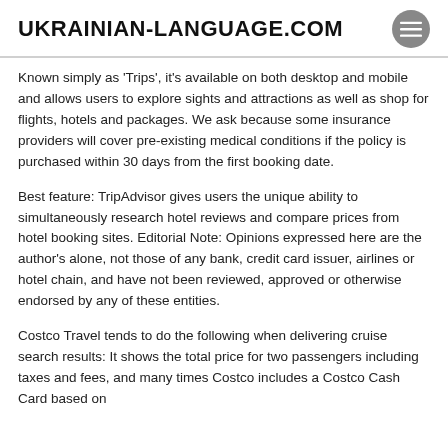UKRAINIAN-LANGUAGE.COM
Known simply as 'Trips', it's available on both desktop and mobile and allows users to explore sights and attractions as well as shop for flights, hotels and packages. We ask because some insurance providers will cover pre-existing medical conditions if the policy is purchased within 30 days from the first booking date.
Best feature: TripAdvisor gives users the unique ability to simultaneously research hotel reviews and compare prices from hotel booking sites. Editorial Note: Opinions expressed here are the author's alone, not those of any bank, credit card issuer, airlines or hotel chain, and have not been reviewed, approved or otherwise endorsed by any of these entities.
Costco Travel tends to do the following when delivering cruise search results: It shows the total price for two passengers including taxes and fees, and many times Costco includes a Costco Cash Card based on